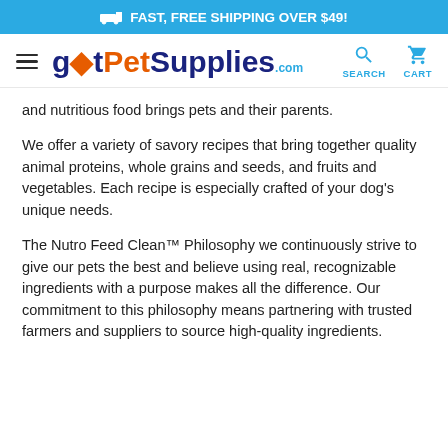🚚 FAST, FREE SHIPPING OVER $49!
[Figure (logo): gotPetSupplies.com logo with hamburger menu, search and cart icons]
and nutritious food brings pets and their parents.
We offer a variety of savory recipes that bring together quality animal proteins, whole grains and seeds, and fruits and vegetables. Each recipe is especially crafted of your dog's unique needs.
The Nutro Feed Clean™ Philosophy we continuously strive to give our pets the best and believe using real, recognizable ingredients with a purpose makes all the difference. Our commitment to this philosophy means partnering with trusted farmers and suppliers to source high-quality ingredients.